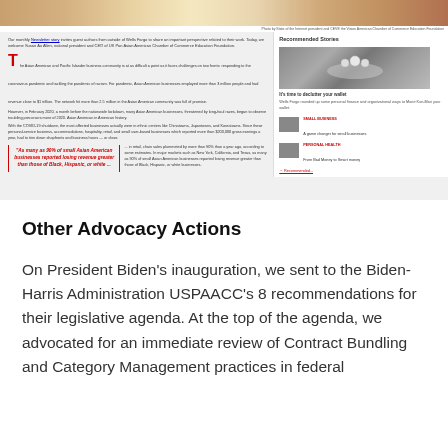[Figure (screenshot): Screenshot of a news article about Asian American businesses with a sidebar showing recommended stories including an image of pearls/jewelry, and article text with a red drop cap 'T', a pullquote in red about 90% of small Asian American businesses reporting losing revenue greater than those of Black, Hispanic, or white businesses.]
Other Advocacy Actions
On President Biden's inauguration, we sent to the Biden-Harris Administration USPAACC's 8 recommendations for their legislative agenda. At the top of the agenda, we advocated for an immediate review of Contract Bundling and Category Management practices in federal